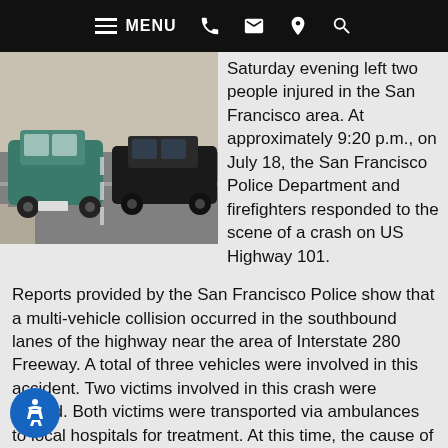MENU [phone] [email] [location] [search]
[Figure (photo): Street scene showing cars on a road, including a teal/green car and a black convertible on a multi-lane road.]
Saturday evening left two people injured in the San Francisco area. At approximately 9:20 p.m., on July 18, the San Francisco Police Department and firefighters responded to the scene of a crash on US Highway 101.
Reports provided by the San Francisco Police show that a multi-vehicle collision occurred in the southbound lanes of the highway near the area of Interstate 280 Freeway. A total of three vehicles were involved in this accident. Two victims involved in this crash were injured. Both victims were transported via ambulances to local hospitals for treatment. At this time, the cause of the crash remains under investigation.